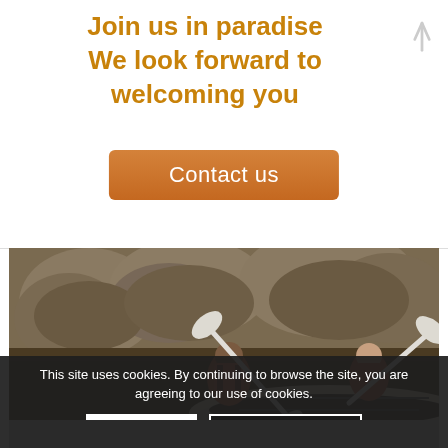Join us in paradise
We look forward to welcoming you
Contact us
[Figure (photo): Two people in life jackets paddling an inflatable white raft on a river with large rocks in the background. Golden hour lighting.]
This site uses cookies. By continuing to browse the site, you are agreeing to our use of cookies.
OK
Learn more